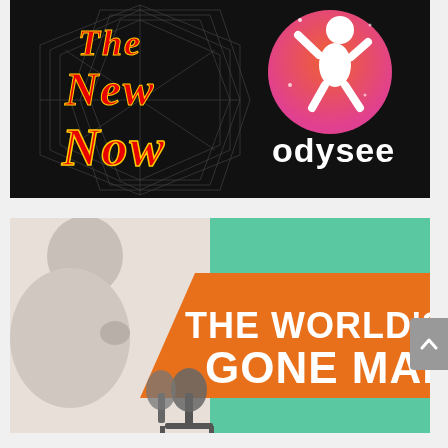[Figure (illustration): Banner image for 'The New Now' show on Odysee. Dark background with geometric diamond/mandala wireframe design. Large red and yellow stylized text reads 'The New Now'. On the right is the Odysee logo: a circular orange-to-pink gradient with a white astronaut figure, and white text 'odysee' below.]
[Figure (illustration): Promotional image for 'The World's Gone Mad'. Background is split teal green and white/grey with a desaturated person holding a megaphone on the left. A large orange diagonal banner shape contains bold white text reading 'THE WORLD'S GONE MAD'. Microphone equipment visible at the bottom.]